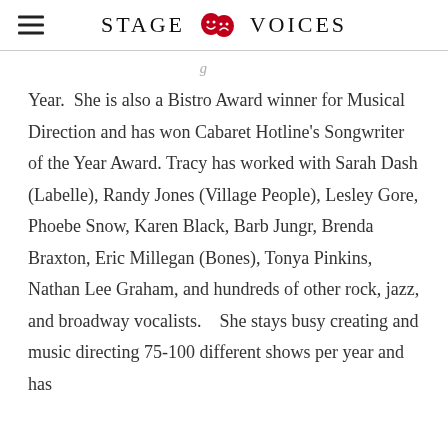STAGE VOICES
Year.  She is also a Bistro Award winner for Musical Direction and has won Cabaret Hotline's Songwriter of the Year Award. Tracy has worked with Sarah Dash (Labelle), Randy Jones (Village People), Lesley Gore, Phoebe Snow, Karen Black, Barb Jungr, Brenda Braxton, Eric Millegan (Bones), Tonya Pinkins, Nathan Lee Graham, and hundreds of other rock, jazz, and broadway vocalists.    She stays busy creating and music directing 75-100 different shows per year and has